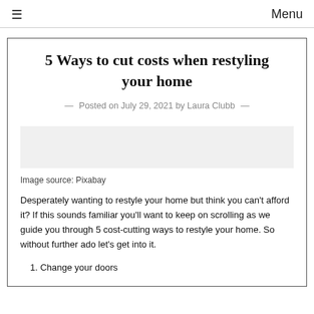≡  Menu
5 Ways to cut costs when restyling your home
— Posted on July 29, 2021 by Laura Clubb —
Image source: Pixabay
Desperately wanting to restyle your home but think you can't afford it? If this sounds familiar you'll want to keep on scrolling as we guide you through 5 cost-cutting ways to restyle your home. So without further ado let's get into it.
1. Change your doors